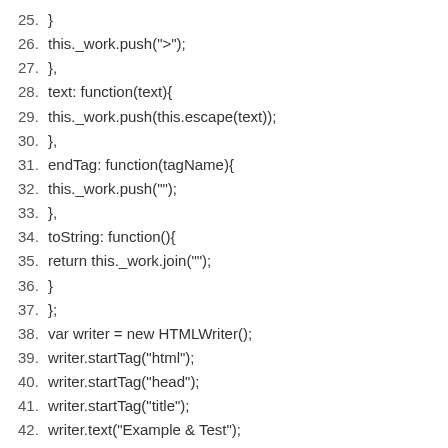25. }
26. this._work.push(">");
27. },
28. text: function(text){
29. this._work.push(this.escape(text));
30. },
31. endTag: function(tagName){
32. this._work.push("");
33. },
34. toString: function(){
35. return this._work.join("");
36. }
37. };
38. var writer = new HTMLWriter();
39. writer.startTag("html");
40. writer.startTag("head");
41. writer.startTag("title");
42. writer.text("Example & Test");
43. writer.endTag("title");